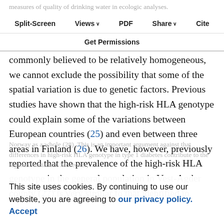measures of quality of drinking water in ecologic analyses.
Split-Screen | Views | PDF | Share | Cite | Get Permissions
It is imaginable that genetic factors explain the increasing incidence of type 1 diabetes over time; although the Norwegian and other Nordic populations are commonly believed to be relatively homogeneous, we cannot exclude the possibility that some of the spatial variation is due to genetic factors. Previous studies have shown that the high-risk HLA genotype could explain some of the variations between European countries (25) and even between three areas in Finland (26). We have, however, previously reported that the prevalence of the high-risk HLA genotype in the general population in Vest-Agder county (27) is very similar to that identified in Norway as a whole (28). This is an important argument against that differences in high-risk HLA genotype in type 1 diabetes contribute to the regional variation. Moreover, ...
This site uses cookies. By continuing to use our website, you are agreeing to our privacy policy. Accept